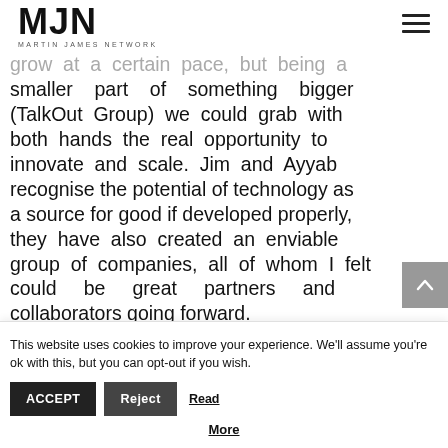MJN MARTIN JAMES NETWORK
recognised that as a small business with little or no investment we can only grow at a certain pace, but being a smaller part of something bigger (TalkOut Group) we could grab with both hands the real opportunity to innovate and scale. Jim and Ayyab recognise the potential of technology as a source for good if developed properly, they have also created an enviable group of companies, all of whom I felt could be great partners and collaborators going forward.
I feel that we are still on an exciting journey and with the support of the
This website uses cookies to improve your experience. We'll assume you're ok with this, but you can opt-out if you wish. ACCEPT Reject Read More